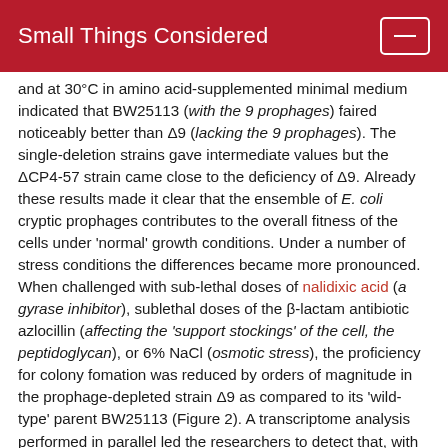Small Things Considered
and at 30°C in amino acid-supplemented minimal medium indicated that BW25113 (with the 9 prophages) faired noticeably better than Δ9 (lacking the 9 prophages). The single-deletion strains gave intermediate values but the ΔCP4-57 strain came close to the deficiency of Δ9. Already these results made it clear that the ensemble of E. coli cryptic prophages contributes to the overall fitness of the cells under 'normal' growth conditions. Under a number of stress conditions the differences became more pronounced. When challenged with sub-lethal doses of nalidixic acid (a gyrase inhibitor), sublethal doses of the β-lactam antibiotic azlocillin (affecting the 'support stockings' of the cell, the peptidoglycan), or 6% NaCl (osmotic stress), the proficiency for colony fomation was reduced by orders of magnitude in the prophage-depleted strain Δ9 as compared to its 'wild-type' parent BW25113 (Figure 2). A transcriptome analysis performed in parallel led the researchers to detect that, with nalidixic acid, 17 prophage genes were induced >2.5-fold in BW25113, and 43 prophage genes >2.5-fold with azlocillin. While genes of the rac and Qin prophages were mainly responsible for the protection from azlocillin in